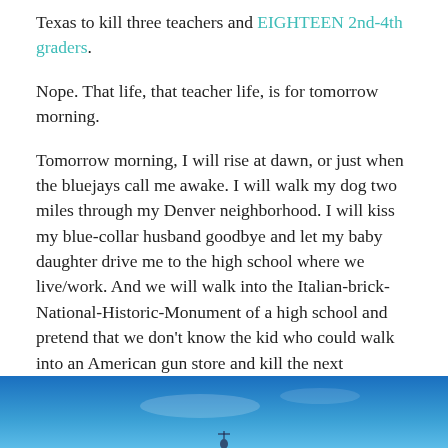Texas to kill three teachers and EIGHTEEN 2nd-4th graders.
Nope. That life, that teacher life, is for tomorrow morning.
Tomorrow morning, I will rise at dawn, or just when the bluejays call me awake. I will walk my dog two miles through my Denver neighborhood. I will kiss my blue-collar husband goodbye and let my baby daughter drive me to the high school where we live/work. And we will walk into the Italian-brick-National-Historic-Monument of a high school and pretend that we don't know the kid who could walk into an American gun store and kill the next generation in ninety minutes.
[Figure (photo): Blue sky photograph partially visible at the bottom of the page]